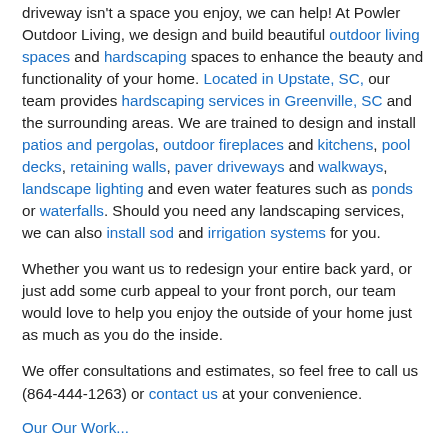driveway isn't a space you enjoy, we can help! At Powler Outdoor Living, we design and build beautiful outdoor living spaces and hardscaping spaces to enhance the beauty and functionality of your home. Located in Upstate, SC, our team provides hardscaping services in Greenville, SC and the surrounding areas. We are trained to design and install patios and pergolas, outdoor fireplaces and kitchens, pool decks, retaining walls, paver driveways and walkways, landscape lighting and even water features such as ponds or waterfalls. Should you need any landscaping services, we can also install sod and irrigation systems for you.
Whether you want us to redesign your entire back yard, or just add some curb appeal to your front porch, our team would love to help you enjoy the outside of your home just as much as you do the inside.
We offer consultations and estimates, so feel free to call us (864-444-1263) or contact us at your convenience.
Our Our Work...